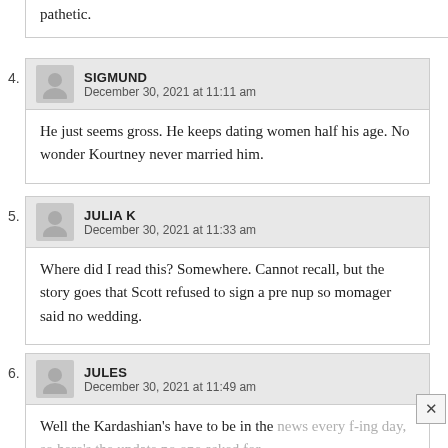pathetic.
4. SIGMUND
December 30, 2021 at 11:11 am
He just seems gross. He keeps dating women half his age. No wonder Kourtney never married him.
5. JULIA K
December 30, 2021 at 11:33 am
Where did I read this? Somewhere. Cannot recall, but the story goes that Scott refused to sign a pre nup so momager said no wedding.
6. JULES
December 30, 2021 at 11:49 am
Well the Kardashian's have to be in the news every f-ing day, so here's the update no one asked for.